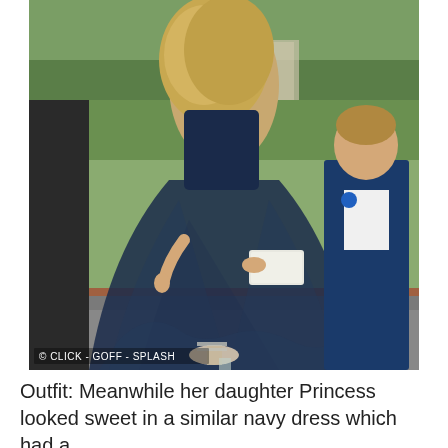[Figure (photo): A woman in a long navy blue tulle dress with a sequined bodice and curly blonde hair, holding a white clutch purse, wearing clear heeled sandals. A young boy in a navy suit with a blue boutonniere stands to her right. They appear to be at a wedding or formal event outdoors. The photo has a watermark reading '© CLICK - GOFF - SPLASH'.]
Outfit: Meanwhile her daughter Princess looked sweet in a similar navy dress which had a